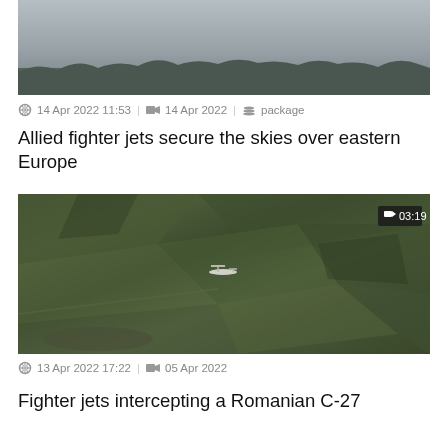[Figure (photo): Top portion of aerial/landscape photo, partially visible at top of page]
14 Apr 2022 11:53 | 14 Apr 2022 | package
Allied fighter jets secure the skies over eastern Europe
[Figure (photo): Aerial photograph of agricultural fields with a military aircraft (Romanian C-27) visible in center, video duration badge showing 03:19]
13 Apr 2022 17:22 | 05 Apr 2022
Fighter jets intercepting a Romanian C-27